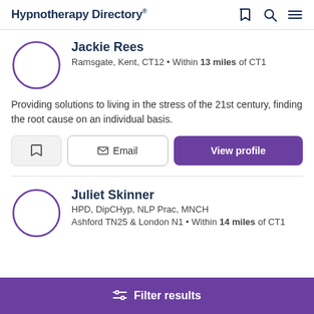Hypnotherapy Directory
Jackie Rees
Ramsgate, Kent, CT12 • Within 13 miles of CT1
Providing solutions to living in the stress of the 21st century, finding the root cause on an individual basis.
Juliet Skinner
HPD, DipCHyp, NLP Prac, MNCH
Ashford TN25 & London N1 • Within 14 miles of CT1
Filter results